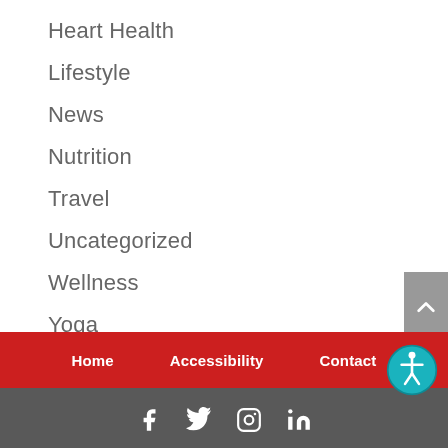Heart Health
Lifestyle
News
Nutrition
Travel
Uncategorized
Wellness
Yoga
Home  Accessibility  Contact
Social icons: Facebook, Twitter, Instagram, LinkedIn